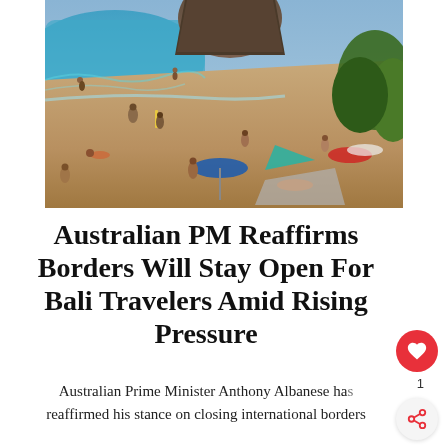[Figure (photo): Aerial view of a crowded beach in Bali with turquoise water, sandy shore, people sunbathing and swimming, colorful beach umbrellas and towels, rocky cliff in background, lush green trees on right]
Australian PM Reaffirms Borders Will Stay Open For Bali Travelers Amid Rising Pressure
Australian Prime Minister Anthony Albanese has reaffirmed his stance on closing international borders